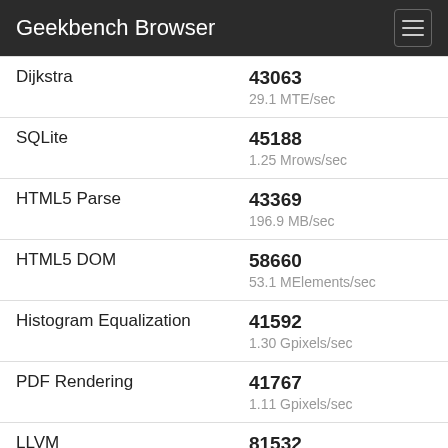Geekbench Browser
| Benchmark | Score |
| --- | --- |
| Dijkstra | 43063
29.1 MTE/sec |
| SQLite | 45188
1.25 Mrows/sec |
| HTML5 Parse | 43369
196.9 MB/sec |
| HTML5 DOM | 58660
53.1 MElements/sec |
| Histogram Equalization | 41592
1.30 Gpixels/sec |
| PDF Rendering | 41767
1.11 Gpixels/sec |
| LLVM | 81532
5.61 Kfunctions/sec |
| Camera | 58238
161.5 images/sec |